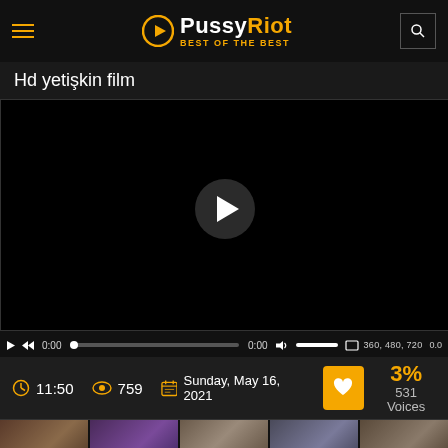PussyRiot BEST OF THE BEST
Hd yetişkin film
[Figure (screenshot): Video player with black screen and play button in center, with controls bar showing 0:00 timestamps, volume, and quality options 360, 480, 720]
11:50  759  Sunday, May 16, 2021  3%  531 Voices
[Figure (photo): Row of 5 video thumbnail images at the bottom of the page]